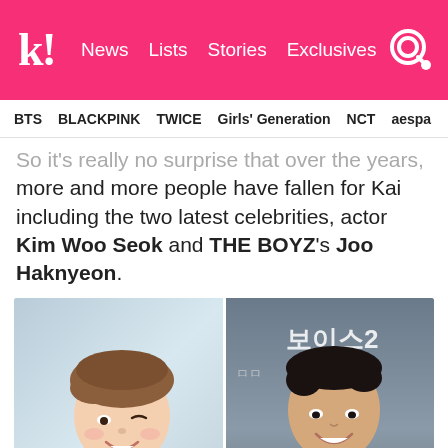k! News  Lists  Stories  Exclusives
BTS  BLACKPINK  TWICE  Girls' Generation  NCT  aespa
So it's really no surprise that over the years, more and more people have fallen for Kai including the two latest celebrities, actor Kim Woo Seok and THE BOYZ's Joo Haknyeon.
[Figure (photo): Two side-by-side photos: left shows Joo Haknyeon smiling and pointing at camera wearing a dark shirt; right shows Kim Woo Seok smiling and holding a microphone at a press event wearing a tan blazer, with Korean text backdrop.]